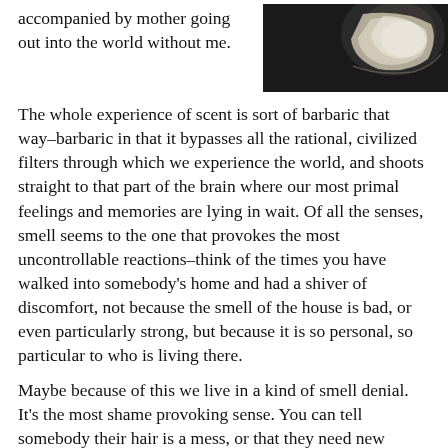accompanied by mother going out into the world without me.
[Figure (photo): Close-up photograph of what appears to be a white ceramic or glass object against a dark background, possibly a perfume bottle or similar vessel.]
The whole experience of scent is sort of barbaric that way–barbaric in that it bypasses all the rational, civilized filters through which we experience the world, and shoots straight to that part of the brain where our most primal feelings and memories are lying in wait. Of all the senses, smell seems to the one that provokes the most uncontrollable reactions–think of the times you have walked into somebody's home and had a shiver of discomfort, not because the smell of the house is bad, or even particularly strong, but because it is so personal, so particular to who is living there.
Maybe because of this we live in a kind of smell denial. It's the most shame provoking sense. You can tell somebody their hair is a mess, or that they need new clothes, but to tell them they smell bad is to risk their never again talking to you. Even our language conspires